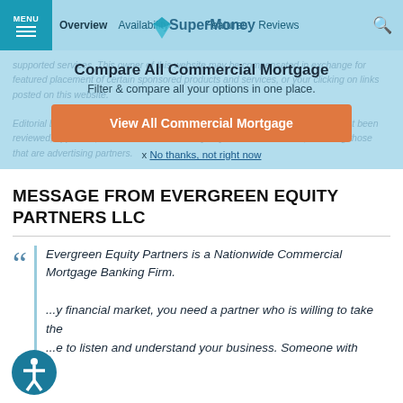MENU | Overview | Availability | Features | Reviews | SuperMoney
supported services. This owner of this website may be compensated in exchange for featured placement of certain sponsored products and services, or your clicking on links posted on this website.
Compare All Commercial Mortgage
Filter & compare all your options in one place.
View All Commercial Mortgage
x No thanks, not right now
Editorial Disclaimer: Opinions expressed here are author's alone, not those of any bank, credit card issuer, airlines or hotel chain, and have not been reviewed, approved or otherwise endorsed by any of these entities. This content has not been reviewed, approved or otherwise endorsed by any financial institution, including those that are advertising partners.
MESSAGE FROM EVERGREEN EQUITY PARTNERS LLC
Evergreen Equity Partners is a Nationwide Commercial Mortgage Banking Firm. In today's financial market, you need a partner who is willing to take the time to listen and understand your business. Someone with